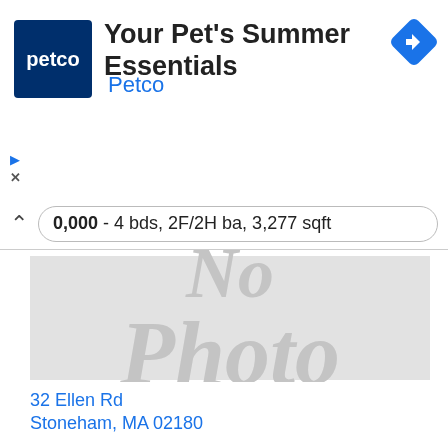[Figure (logo): Petco blue square logo with white text 'petco']
Your Pet's Summer Essentials
Petco
[Figure (other): Blue diamond navigation/directions icon with white arrow]
0,000 - 4 bds, 2F/2H ba, 3,277 sqft
[Figure (photo): No Photo placeholder image — grey rectangle with 'No Photo' text in light grey]
32 Ellen Rd
Stoneham, MA 02180